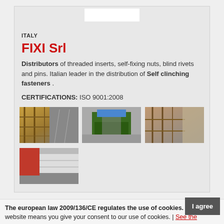[Figure (photo): White banner/logo image at top of card]
ITALY
FIXI Srl
Distributors of threaded inserts, self-fixing nuts, blind rivets and pins. Italian leader in the distribution of Self clinching fasteners .
CERTIFICATIONS: ISO 9001:2008
[Figure (photo): Warehouse interior photo 1 - shelving racks with products]
[Figure (photo): Warehouse interior photo 2 - machinery/equipment]
[Figure (photo): Warehouse interior photo 3 - shelving with boxes]
[Figure (photo): Exterior building photo 4 - industrial building facade]
The european law 2009/136/CE regulates the use of cookies. Using this website means you give your consent to our use of cookies. | See the